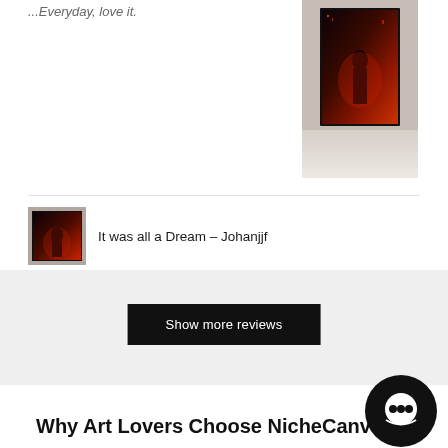...Everyday love it.
[Figure (photo): Wall art canvas print showing a dark cityscape or figure silhouette with red/orange lighting, hung on a beige wall above a white surface]
[Figure (photo): Small thumbnail image of the same art print - dark cityscape with red/orange tones]
It was all a Dream - Johanjjf
Show more reviews
Why Art Lovers Choose NicheCanvas